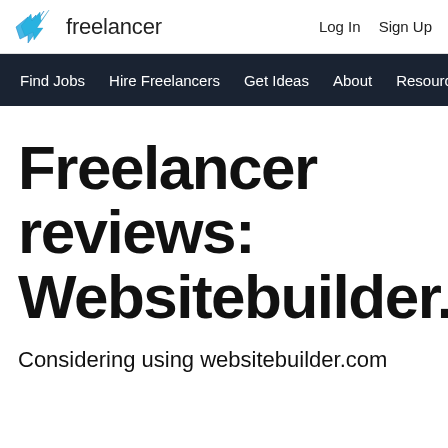Freelancer | Log In | Sign Up
Find Jobs | Hire Freelancers | Get Ideas | About | Resources
Freelancer reviews: Websitebuilder.com
Considering using websitebuilder.com